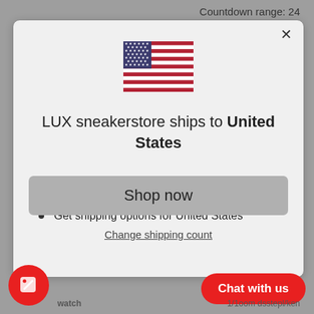Countdown range: 24
[Figure (illustration): US flag SVG illustration]
LUX sneakerstore ships to United States
Shop in USD $
Get shipping options for United States
Shop now
Change shipping count
Chat with us